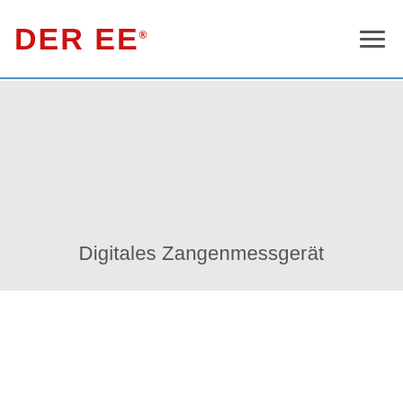DER EE
Digitales Zangenmessgerät